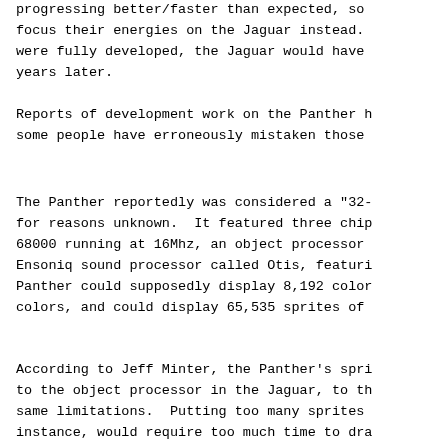progressing better/faster than expected, so focus their energies on the Jaguar instead. were fully developed, the Jaguar would have years later.
Reports of development work on the Panther h some people have erroneously mistaken those
The Panther reportedly was considered a "32- for reasons unknown.  It featured three chip 68000 running at 16Mhz, an object processor Ensoniq sound processor called Otis, featuri Panther could supposedly display 8,192 color colors, and could display 65,535 sprites of
According to Jeff Minter, the Panther's spri to the object processor in the Jaguar, to th same limitations.  Putting too many sprites instance, would require too much time to dra "tearing" effect in the affected row.